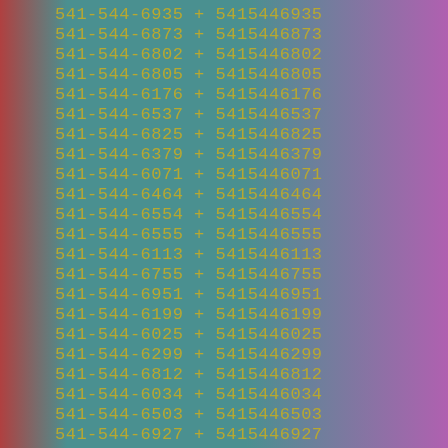541-544-6935 + 5415446935
541-544-6873 + 5415446873
541-544-6802 + 5415446802
541-544-6805 + 5415446805
541-544-6176 + 5415446176
541-544-6537 + 5415446537
541-544-6825 + 5415446825
541-544-6379 + 5415446379
541-544-6071 + 5415446071
541-544-6464 + 5415446464
541-544-6554 + 5415446554
541-544-6555 + 5415446555
541-544-6113 + 5415446113
541-544-6755 + 5415446755
541-544-6951 + 5415446951
541-544-6199 + 5415446199
541-544-6025 + 5415446025
541-544-6299 + 5415446299
541-544-6812 + 5415446812
541-544-6034 + 5415446034
541-544-6503 + 5415446503
541-544-6927 + 5415446927